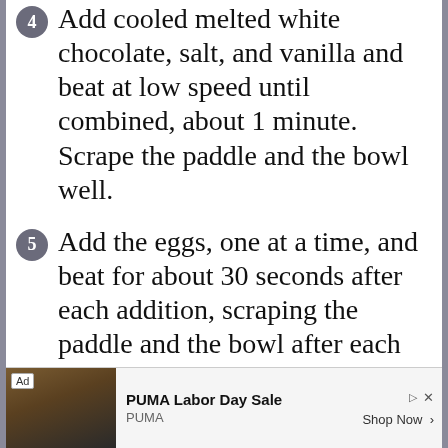4 Add cooled melted white chocolate, salt, and vanilla and beat at low speed until combined, about 1 minute. Scrape the paddle and the bowl well.
5 Add the eggs, one at a time, and beat for about 30 seconds after each addition, scraping the paddle and the bowl after each addition.
6 Tap bowl on the counter
[Figure (other): Advertisement banner for PUMA Labor Day Sale with an image of someone wearing PUMA gear, Ad label, title 'PUMA Labor Day Sale', subtitle 'PUMA', and 'Shop Now >' button]